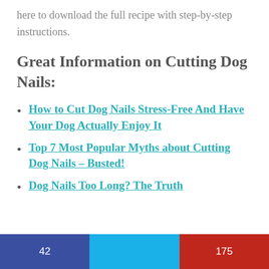here to download the full recipe with step-by-step instructions.
Great Information on Cutting Dog Nails:
How to Cut Dog Nails Stress-Free And Have Your Dog Actually Enjoy It
Top 7 Most Popular Myths about Cutting Dog Nails – Busted!
Dog Nails Too Long? The Truth
42   175